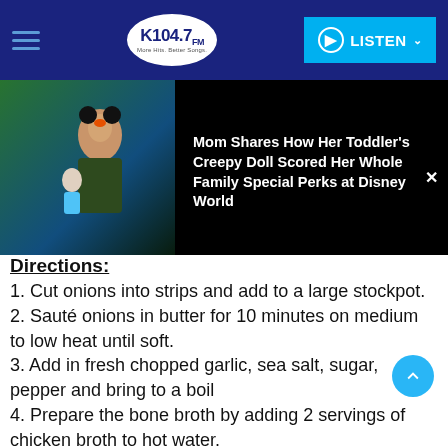[Figure (screenshot): K104.7 FM radio station navigation bar with hamburger menu, oval logo, and cyan LISTEN button]
[Figure (screenshot): Advertisement overlay showing a toddler in Minnie Mouse costume holding a doll, with headline: Mom Shares How Her Toddler's Creepy Doll Scored Her Whole Family Special Perks at Disney World]
Directions:
1. Cut onions into strips and add to a large stockpot.
2. Sauté onions in butter for 10 minutes on medium to low heat until soft.
3. Add in fresh chopped garlic, sea salt, sugar, pepper and bring to a boil
4. Prepare the bone broth by adding 2 servings of chicken broth to hot water.
5. Add LonoLife bone broth to the stockpot